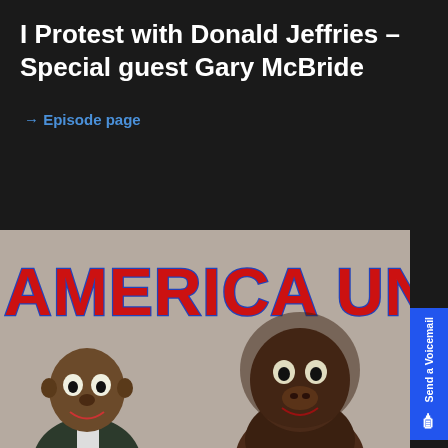I Protest with Donald Jeffries – Special guest Gary McBride
→ Episode page
[Figure (photo): America Unplugged show artwork featuring two monster/creature figures in suits against a gray background with large red text reading 'AMERICA UNPLUGGED']
Send a Voicemail